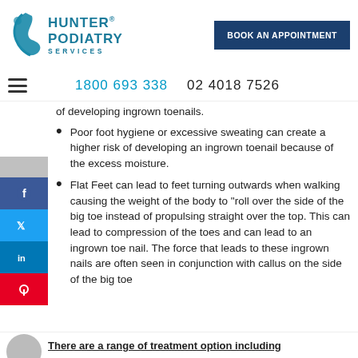[Figure (logo): Hunter Podiatry Services logo with teal foot/leg icon]
[Figure (other): Book An Appointment button (dark navy blue)]
1800 693 338    02 4018 7526
of developing ingrown toenails.
Poor foot hygiene or excessive sweating can create a higher risk of developing an ingrown toenail because of the excess moisture.
Flat Feet can lead to feet turning outwards when walking causing the weight of the body to "roll over the side of the big toe instead of propulsing straight over the top. This can lead to compression of the toes and can lead to an ingrown toe nail. The force that leads to these ingrown nails are often seen in conjunction with callus on the side of the big toe
There are a range of treatment option including